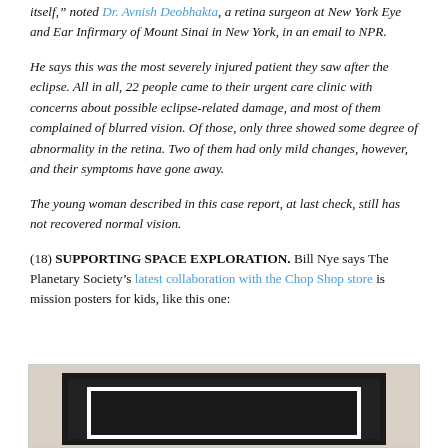itself," noted Dr. Avnish Deobhakta, a retina surgeon at New York Eye and Ear Infirmary of Mount Sinai in New York, in an email to NPR.
He says this was the most severely injured patient they saw after the eclipse. All in all, 22 people came to their urgent care clinic with concerns about possible eclipse-related damage, and most of them complained of blurred vision. Of those, only three showed some degree of abnormality in the retina. Two of them had only mild changes, however, and their symptoms have gone away.
The young woman described in this case report, at last check, still has not recovered normal vision.
(18) SUPPORTING SPACE EXPLORATION. Bill Nye says The Planetary Society's latest collaboration with the Chop Shop store is mission posters for kids, like this one:
[Figure (photo): A framed mission poster displayed on a wood-grain background, with a dark black frame and white mat around a dark inner image.]